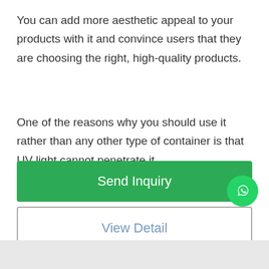You can add more aesthetic appeal to your products with it and convince users that they are choosing the right, high-quality products.
One of the reasons why you should use it rather than any other type of container is that UV light cannot penetrate it.
Send Inquiry
View Detail